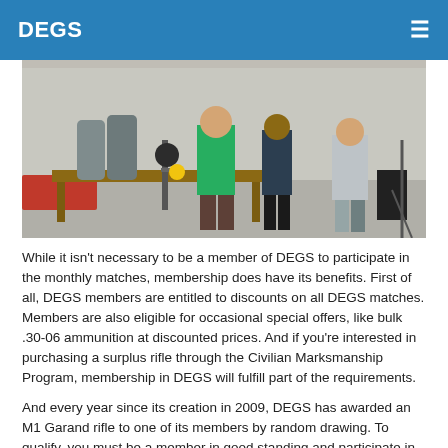DEGS
[Figure (photo): Outdoor shooting range scene with people standing near equipment including rifles and gas cylinders on a wooden table, concrete floor, partial shade structure visible.]
While it isn't necessary to be a member of DEGS to participate in the monthly matches, membership does have its benefits. First of all, DEGS members are entitled to discounts on all DEGS matches. Members are also eligible for occasional special offers, like bulk .30-06 ammunition at discounted prices. And if you're interested in purchasing a surplus rifle through the Civilian Marksmanship Program, membership in DEGS will fulfill part of the requirements.
And every year since its creation in 2009, DEGS has awarded an M1 Garand rifle to one of its members by random drawing. To qualify, you must be a member in good standing and participate in at least five matches during that calendar year.
More importantly, DEGS is a place where people with a common